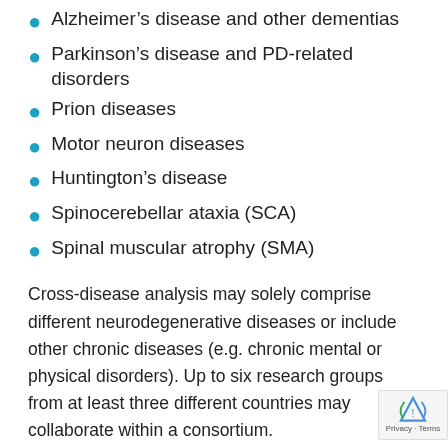Alzheimer's disease and other dementias
Parkinson's disease and PD-related disorders
Prion diseases
Motor neuron diseases
Huntington's disease
Spinocerebellar ataxia (SCA)
Spinal muscular atrophy (SMA)
Cross-disease analysis may solely comprise different neurodegenerative diseases or include other chronic diseases (e.g. chronic mental or physical disorders). Up to six research groups from at least three different countries may collaborate within a consortium.
This will be a two-step call, expected to be launched in early January 2017, with a likely pre-proposal